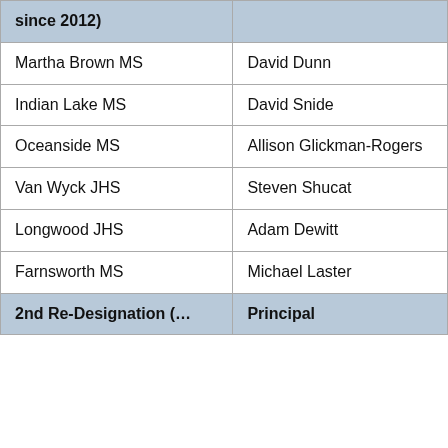| (since 2012) |  |
| --- | --- |
| Martha Brown MS | David Dunn |
| Indian Lake MS | David Snide |
| Oceanside MS | Allison Glickman-Rogers |
| Van Wyck JHS | Steven Shucat |
| Longwood JHS | Adam Dewitt |
| Farnsworth MS | Michael Laster |
| 2nd Re-Designation (…) | Principal |